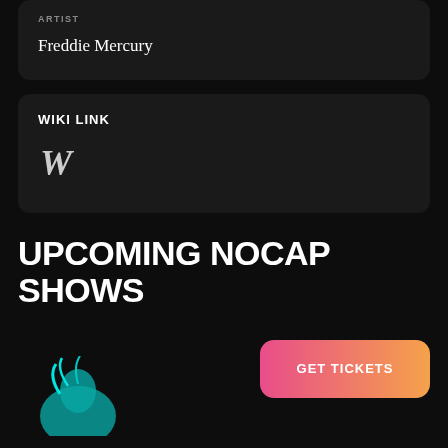Freddie Mercury
WIKI LINK
[Figure (logo): Wikipedia W logo icon in serif font style]
UPCOMING NOCAP SHOWS
[Figure (illustration): Teal/cyan colored illustrated figure partially visible at bottom left]
GET TICKETS